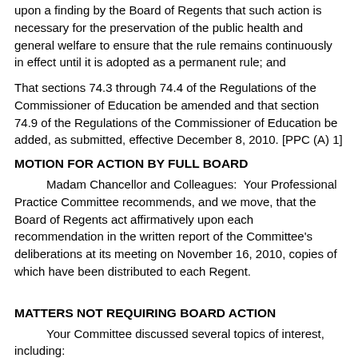upon a finding by the Board of Regents that such action is necessary for the preservation of the public health and general welfare to ensure that the rule remains continuously in effect until it is adopted as a permanent rule; and
That sections 74.3 through 74.4 of the Regulations of the Commissioner of Education be amended and that section 74.9 of the Regulations of the Commissioner of Education be added, as submitted, effective December 8, 2010. [PPC (A) 1]
MOTION FOR ACTION BY FULL BOARD
Madam Chancellor and Colleagues: Your Professional Practice Committee recommends, and we move, that the Board of Regents act affirmatively upon each recommendation in the written report of the Committee's deliberations at its meeting on November 16, 2010, copies of which have been distributed to each Regent.
MATTERS NOT REQUIRING BOARD ACTION
Your Committee discussed several topics of interest, including: